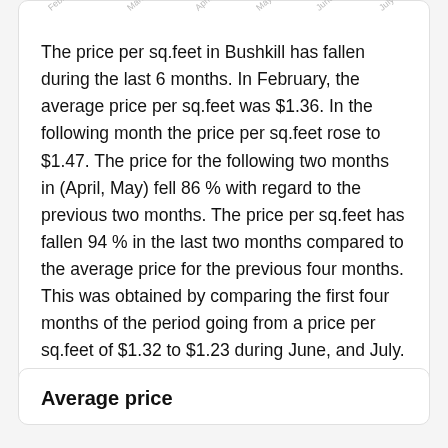[Figure (line-chart): Partial top of a line chart showing x-axis month labels: February, March, April, May, June, July]
The price per sq.feet in Bushkill has fallen during the last 6 months. In February, the average price per sq.feet was $1.36. In the following month the price per sq.feet rose to $1.47. The price for the following two months in (April, May) fell 86 % with regard to the previous two months. The price per sq.feet has fallen 94 % in the last two months compared to the average price for the previous four months. This was obtained by comparing the first four months of the period going from a price per sq.feet of $1.32 to $1.23 during June, and July.
Average price